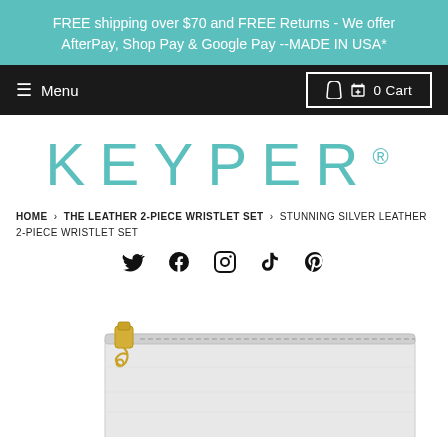FREE shipping over $70 and FREE Returns - We offer AfterPay, Shop Pay & Google Pay --MADE IN USA*
≡ Menu    🛍 0 Cart
KEYPER®
HOME › THE LEATHER 2-PIECE WRISTLET SET › STUNNING SILVER LEATHER 2-PIECE WRISTLET SET
[Figure (other): Social media icons row: Twitter, Facebook, Instagram, TikTok, Pinterest]
[Figure (photo): Close-up photo of a silver leather zippered wristlet/pouch with gold zipper pull hardware, shown against white background]